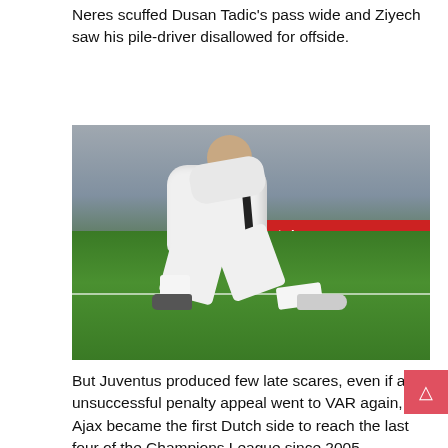Neres scuffed Dusan Tadic's pass wide and Ziyech saw his pile-driver disallowed for offside.
[Figure (photo): A football player in a white Juventus jersey sitting on the grass pitch, head buried in his hands in despair. A red advertising hoarding is visible in the background.]
But Juventus produced few late scares, even if an unsuccessful penalty appeal went to VAR again, as Ajax became the first Dutch side to reach the last four of the Champions League since 2005.